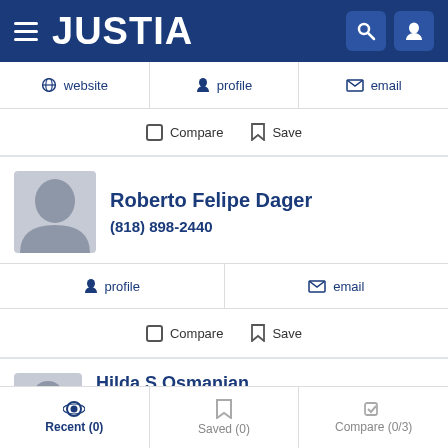JUSTIA
website | profile | email
Compare  Save
Roberto Felipe Dager
(818) 898-2440
profile | email
Compare  Save
Hilda S Osmanian
Recent (0)  Saved (0)  Compare (0/3)